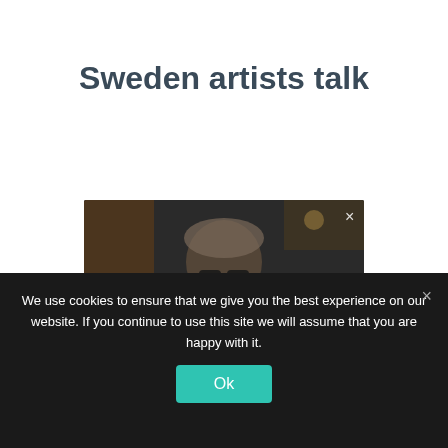Sweden artists talk
[Figure (screenshot): Video player thumbnail showing a man with glasses and dark overlay text partially visible, with an X close button in the top-right corner]
We use cookies to ensure that we give you the best experience on our website. If you continue to use this site we will assume that you are happy with it.